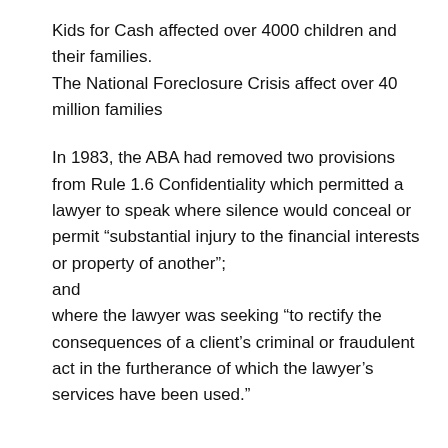Kids for Cash affected over 4000 children and their families. The National Foreclosure Crisis affect over 40 million families
In 1983, the ABA had removed two provisions from Rule 1.6 Confidentiality which permitted a lawyer to speak where silence would conceal or permit “substantial injury to the financial interests or property of another”; and where the lawyer was seeking “to rectify the consequences of a client’s criminal or fraudulent act in the furtherance of which the lawyer’s services have been used.”